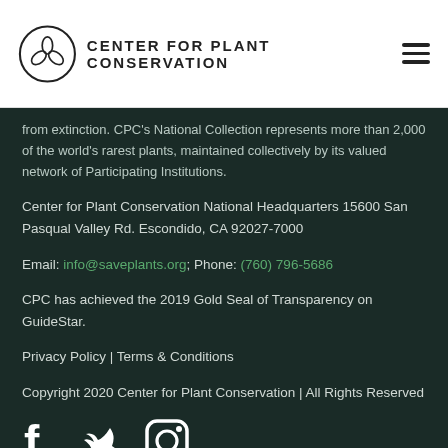CENTER FOR PLANT CONSERVATION
from extinction. CPC's National Collection represents more than 2,000 of the world's rarest plants, maintained collectively by its valued network of Participating Institutions.
Center for Plant Conservation National Headquarters 15600 San Pasqual Valley Rd. Escondido, CA 92027-7000
Email: info@saveplants.org; Phone: (760) 796-5686
CPC has achieved the 2019 Gold Seal of Transparency on GuideStar.
Privacy Policy | Terms & Conditions
Copyright 2020 Center for Plant Conservation | All Rights Reserved
[Figure (illustration): Social media icons: Facebook, Twitter, Instagram]